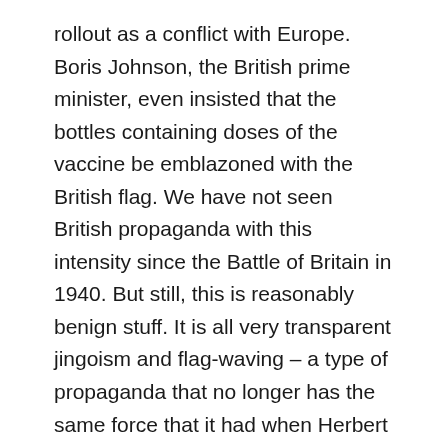rollout as a conflict with Europe. Boris Johnson, the British prime minister, even insisted that the bottles containing doses of the vaccine be emblazoned with the British flag. We have not seen British propaganda with this intensity since the Battle of Britain in 1940. But still, this is reasonably benign stuff. It is all very transparent jingoism and flag-waving – a type of propaganda that no longer has the same force that it had when Herbert Asquith's government was recruiting Pals battalions to fight the Kaiser in Flanders.

But there is a darker, more sinister side to this